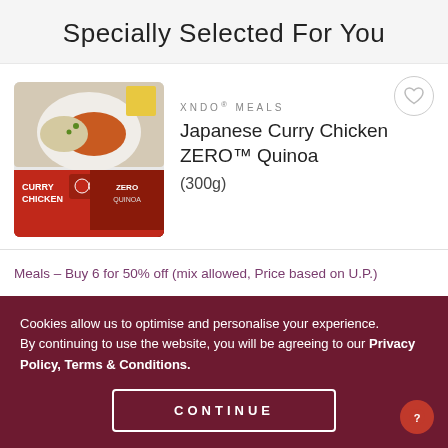Specially Selected For You
[Figure (photo): Product packaging of XNDO Curry Chicken ZERO Quinoa meal box, showing a plate of Japanese curry chicken on the front]
XNDO® MEALS
Japanese Curry Chicken ZERO™ Quinoa (300g)
Meals – Buy 6 for 50% off (mix allowed, Price based on U.P.)
Cookies allow us to optimise and personalise your experience.
By continuing to use the website, you will be agreeing to our Privacy Policy, Terms & Conditions.
CONTINUE